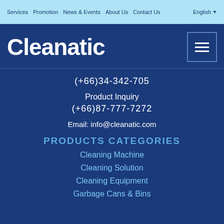Services  Promotion  News & Events  About Us  Contact Us  English
Cleanatic
(+66)34-342-705
Product Inquiry
(+66)87-777-7272
Email: info@cleanatic.com
PRODUCTS CATEGORIES
Cleaning Machine
Cleaning Solution
Cleaning Equipment
Garbage Cans & Bins